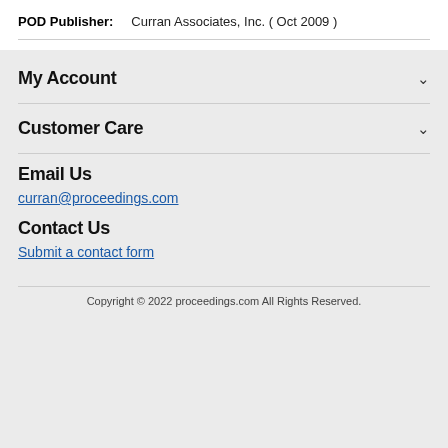POD Publisher: Curran Associates, Inc. ( Oct 2009 )
My Account
Customer Care
Email Us
curran@proceedings.com
Contact Us
Submit a contact form
Copyright © 2022 proceedings.com All Rights Reserved.